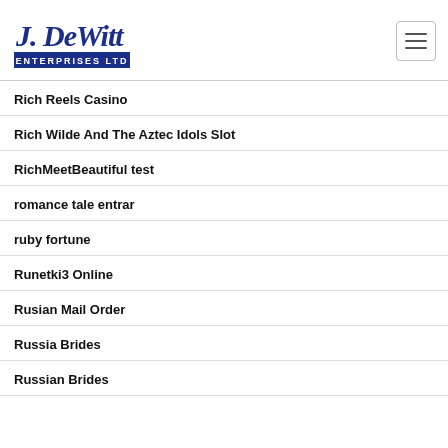[Figure (logo): J. DeWitt Enterprises Ltd logo — cursive blue text with blue banner]
Rich Reels Casino
Rich Wilde And The Aztec Idols Slot
RichMeetBeautiful test
romance tale entrar
ruby fortune
Runetki3 Online
Rusian Mail Order
Russia Brides
Russian Brides